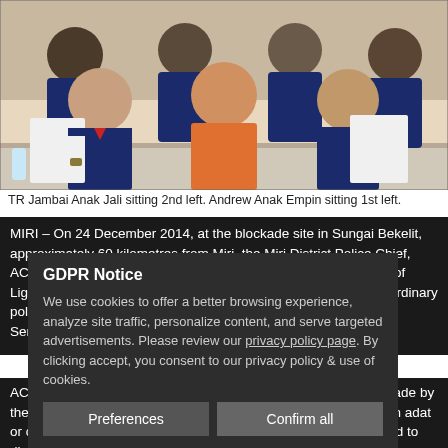[Figure (photo): Group photo of police officers and a man in orange shirt sitting at a table, some holding documents. Additional officers standing behind.]
TR Jambai Anak Jali sitting 2nd left. Andrew Anak Empin sitting 1st left.
MIRI – On 24 December 2014, at the blockade site in Sungai Bekelit, approximately 60 kilometres from Miri, the Miri District Police Chief, ACP Gan Tian Kee led a force of 80 police personnel consisting of Light Strike Force (LSF), General Operations Force (GOF) and ordinary police to confront the Iban community of Sungai Bekelit, Sungai Serungot and Sungai Keliting, to dismantle their blockade.
GDPR Notice
We use cookies to offer a better browsing experience, analyze site traffic, personalize content, and serve targeted advertisements. Please review our privacy policy page. By clicking accept, you consent to our privacy policy & use of cookies.
[Preferences] [Confirm all]
ACP Gan took it upon himself to destroy the 'piring' or offering made by the Iban to their deities at the blockade site, disregarding the Iban adat or custom that it is wrong to destroy the piring. He also proceeded to dismantle the blockade and the